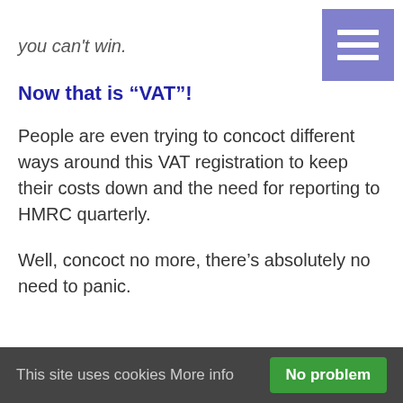[Figure (other): Purple hamburger menu icon in top right corner]
you can't win.
Now that is “VAT”!
People are even trying to concoct different ways around this VAT registration to keep their costs down and the need for reporting to HMRC quarterly.
Well, concoct no more, there’s absolutely no need to panic.
This site uses cookies More info  No problem